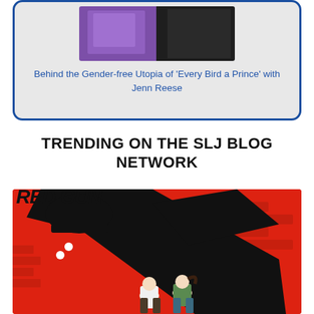[Figure (photo): Composite image showing a book cover for 'Every Bird a Prince' on a purple background alongside a photo of author Jenn Reese on dark background, inside a rounded card with blue border]
Behind the Gender-free Utopia of 'Every Bird a Prince' with Jenn Reese
TRENDING ON THE SLJ BLOG NETWORK
[Figure (illustration): Comic book cover art on red background showing a large black menacing shadow figure with two glowing white eyes looming over two children (a boy in white shirt and a girl in green shirt) who appear frightened, with black text/title at top and brick wall details on the right side]